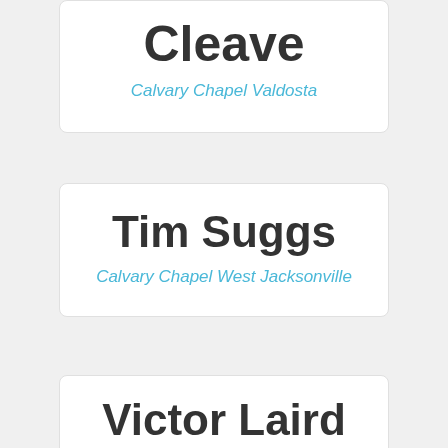Cleave
Calvary Chapel Valdosta
Tim Suggs
Calvary Chapel West Jacksonville
Victor Laird